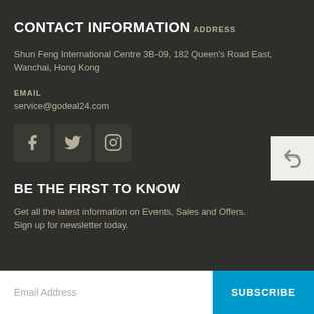CONTACT INFORMATION
ADDRESS
Shun Feng International Centre 3B-09, 182 Queen's Road East, Wanchai, Hong Kong
EMAIL
service@godeal24.com
[Figure (other): Social media icons: Facebook, Twitter, Instagram]
BE THE FIRST TO KNOW
Get all the latest information on Events, Sales and Offers. Sign up for newsletter today.
Email Address  SUBSCRIBE